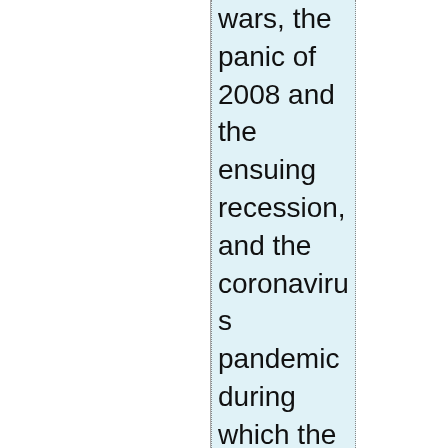wars, the panic of 2008 and the ensuing recession, and the coronavirus pandemic during which the 2020 election took place.